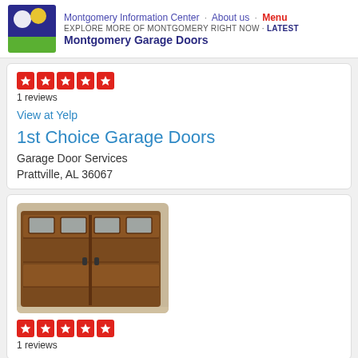Montgomery Information Center · About us · Menu
EXPLORE MORE OF MONTGOMERY RIGHT NOW · Latest
Montgomery Garage Doors
[Figure (other): Yelp 5-star rating with 1 reviews]
1 reviews
View at Yelp
1st Choice Garage Doors
Garage Door Services
Prattville, AL 36067
[Figure (photo): Photo of a dark brown wooden-style garage door with decorative windows at the top]
[Figure (other): Yelp 5-star rating with 1 reviews (second listing)]
1 reviews